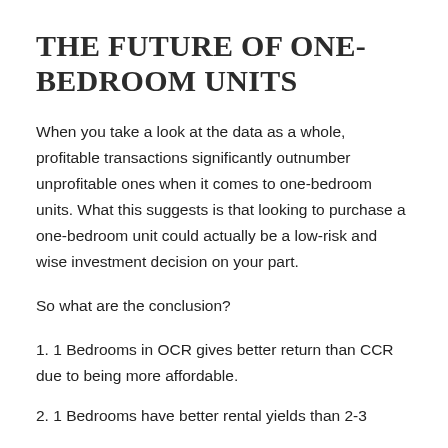THE FUTURE OF ONE-BEDROOM UNITS
When you take a look at the data as a whole, profitable transactions significantly outnumber unprofitable ones when it comes to one-bedroom units. What this suggests is that looking to purchase a one-bedroom unit could actually be a low-risk and wise investment decision on your part.
So what are the conclusion?
1. 1 Bedrooms in OCR gives better return than CCR due to being more affordable.
2. 1 Bedrooms have better rental yields than 2-3